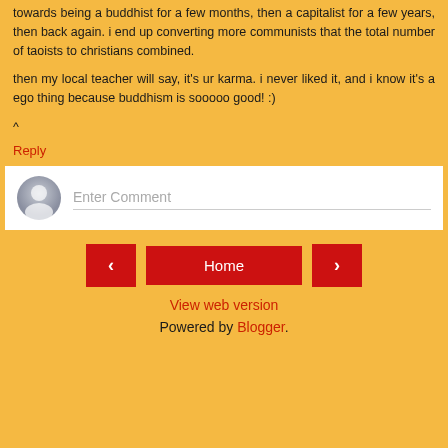towards being a buddhist for a few months, then a capitalist for a few years, then back again. i end up converting more communists that the total number of taoists to christians combined.
then my local teacher will say, it's ur karma. i never liked it, and i know it's a ego thing because buddhism is sooooo good! :)
^
Reply
[Figure (screenshot): Comment input box with avatar icon placeholder and 'Enter Comment' placeholder text]
[Figure (screenshot): Navigation bar with left arrow button, Home button, and right arrow button]
View web version
Powered by Blogger.